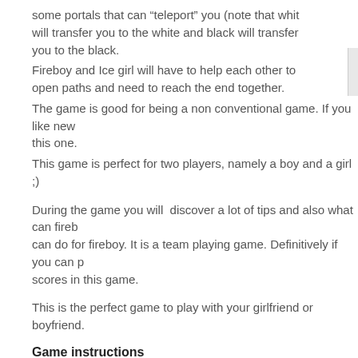some portals that can “teleport” you (note that whit will transfer you to the white and black will transfer you to the black.
Fireboy and Ice girl will have to help each other to open paths and need to reach the end together.
The game is good for being a non conventional game. If you like new this one.
This game is perfect for two players, namely a boy and a girl ;)
During the game you will  discover a lot of tips and also what can fireb can do for fireboy. It is a team playing game. Definitively if you can p scores in this game.
This is the perfect game to play with your girlfriend or boyfriend.
Game instructions
P1 – Arrows; P2 – “A” “W” “S” “D” for moving and jumping.
Game Stats
This game was played 7,864 times
Fireboy and Watergirl 4 The Crystal Temple online Screen
[Figure (photo): Three screenshot thumbnails of Fireboy and Watergirl 4 The Crystal Temple game. The middle one shows a dark game scene with game characters visible.]